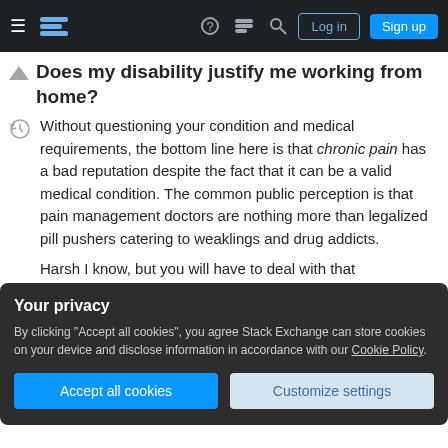[Figure (screenshot): Stack Exchange navigation bar with hamburger menu, logo, icons for help, chat, search, and Log in / Sign up buttons]
Does my disability justify me working from home?
Without questioning your condition and medical requirements, the bottom line here is that chronic pain has a bad reputation despite the fact that it can be a valid medical condition. The common public perception is that pain management doctors are nothing more than legalized pill pushers catering to weaklings and drug addicts.
Harsh I know, but you will have to deal with that
Your privacy
By clicking "Accept all cookies", you agree Stack Exchange can store cookies on your device and disclose information in accordance with our Cookie Policy.
manager and the HR department. Including a